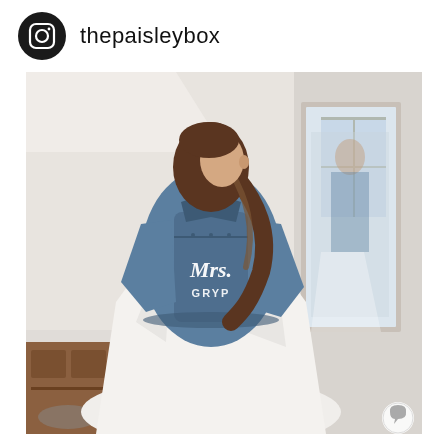thepaisleybox
[Figure (photo): Instagram post from @thepaisleybox showing a woman wearing a denim jacket with 'Mrs. GRYP' written on the back in white script lettering, paired with a white wedding dress. She is standing in a room with a mirror, hardwood floors, and white walls, looking back over her shoulder and smiling.]